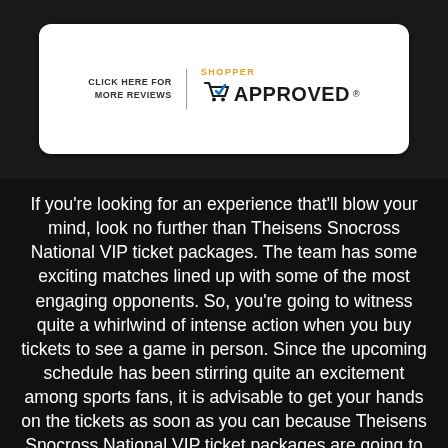[Figure (logo): Shopper Approved badge with 'CLICK HERE FOR MORE REVIEWS' text on the left, a vertical divider, and the Shopper Approved logo with a checkmark cart icon on the right, displayed inside a white rounded card.]
If you're looking for an experience that'll blow your mind, look no further than Theisens Snocross National VIP ticket packages. The team has some exciting matches lined up with some of the most engaging opponents. So, you're going to witness quite a whirlwind of intense action when you buy tickets to see a game in person. Since the upcoming schedule has been stirring quite an excitement among sports fans, it is advisable to get your hands on the tickets as soon as you can because Theisens Snocross National VIP ticket packages are going to be in high demand. After all, it isn't every day you get to see the iconic team play in a venue near you.